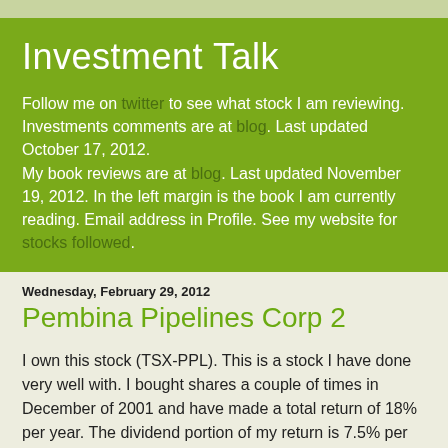Investment Talk
Follow me on twitter to see what stock I am reviewing. Investments comments are at blog. Last updated October 17, 2012.
My book reviews are at blog. Last updated November 19, 2012. In the left margin is the book I am currently reading. Email address in Profile. See my website for stocks followed.
Wednesday, February 29, 2012
Pembina Pipelines Corp 2
I own this stock (TSX-PPL). This is a stock I have done very well with. I bought shares a couple of times in December of 2001 and have made a total return of 18% per year. The dividend portion of my return is 7.5% per year. That means